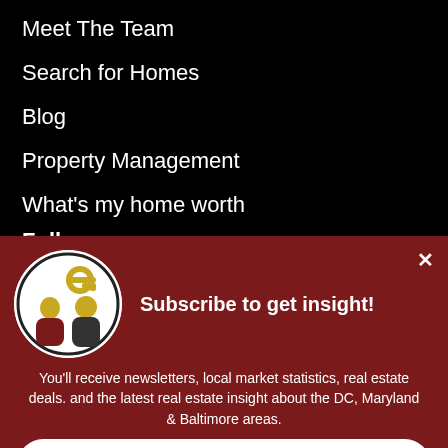Meet The Team
Search for Homes
Blog
Property Management
What's my home worth
Foll
Subscribe to get insight!
You'll receive newsletters, local market statistics, real estate deals. and the latest real estate insight about the DC, Maryland & Baltimore areas.
Subscribe now